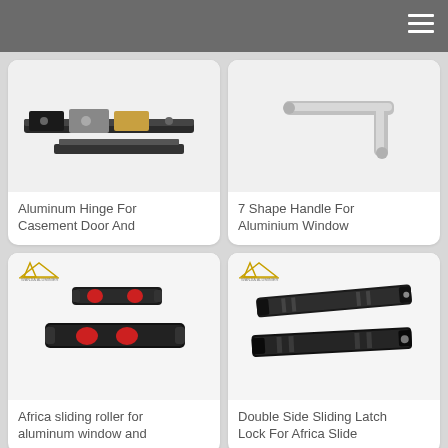[Figure (photo): Aluminum hinge hardware pieces for casement door and window]
Aluminum Hinge For Casement Door And
[Figure (photo): 7 Shape handle for aluminium window]
7 Shape Handle For Aluminium Window
[Figure (photo): Africa sliding roller for aluminum window and door - two black roller pieces with red wheels]
Africa sliding roller for aluminum window and
[Figure (photo): Double side sliding latch lock for Africa slide - two black elongated latch pieces]
Double Side Sliding Latch Lock For Africa Slide
[Figure (photo): Partial view of product card with logo]
[Figure (photo): Partial view of product card with logo and item]